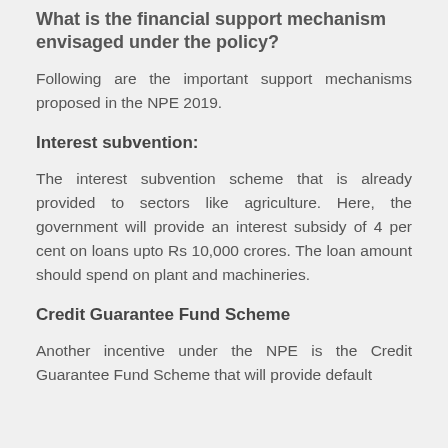What is the financial support mechanism envisaged under the policy?
Following are the important support mechanisms proposed in the NPE 2019.
Interest subvention:
The interest subvention scheme that is already provided to sectors like agriculture. Here, the government will provide an interest subsidy of 4 per cent on loans upto Rs 10,000 crores. The loan amount should spend on plant and machineries.
Credit Guarantee Fund Scheme
Another incentive under the NPE is the Credit Guarantee Fund Scheme that will provide default